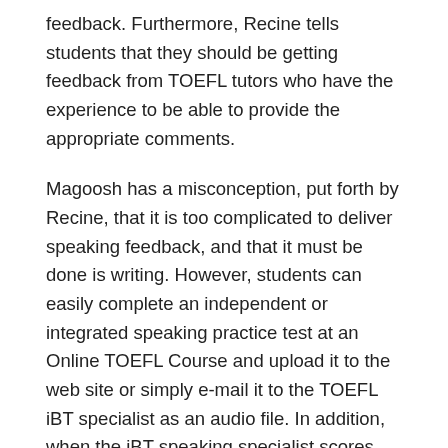feedback. Furthermore, Recine tells students that they should be getting feedback from TOEFL tutors who have the experience to be able to provide the appropriate comments.
Magoosh has a misconception, put forth by Recine, that it is too complicated to deliver speaking feedback, and that it must be done is writing. However, students can easily complete an independent or integrated speaking practice test at an Online TOEFL Course and upload it to the web site or simply e-mail it to the TOEFL iBT specialist as an audio file. In addition, when the iBT speaking specialist scores the practice tests and provides comments relating to delivery, language-use, and topic development, s/he can do this by giving the students' audio or video comments. These types of audio or video comments are not time consuming at all, as Recine seems to believe. In fact, when I listen to and respond to speaking practice tests that my students submit, I can listen to, evaluate, score, and even recommend specific lessons to help my students improve their delivery, language use, and topic development in